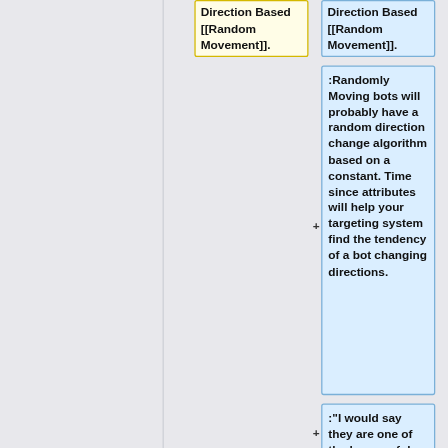Direction Based [[Random Movement]].
Direction Based [[Random Movement]].
:Randomly Moving bots will probably have a random direction change algorithm based on a constant. Time since attributes will help your targeting system find the tendency of a bot changing directions.
:"I would say they are one of the less useful